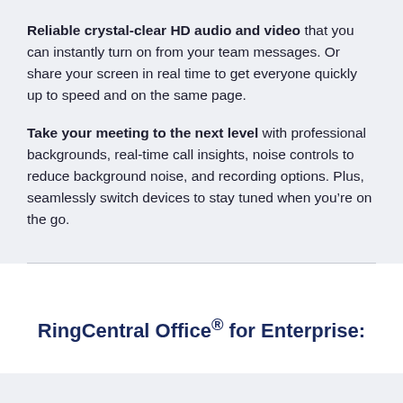Reliable crystal-clear HD audio and video that you can instantly turn on from your team messages. Or share your screen in real time to get everyone quickly up to speed and on the same page.
Take your meeting to the next level with professional backgrounds, real-time call insights, noise controls to reduce background noise, and recording options. Plus, seamlessly switch devices to stay tuned when you're on the go.
RingCentral Office® for Enterprise: